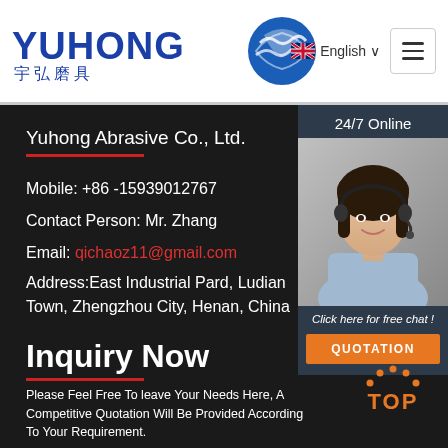[Figure (logo): Yuhong Abrasive logo with blue Chinese characters and blue wave/globe icon]
English
Yuhong Abrasive Co., Ltd.
Mobile: +86 -15939012767
Contact Person: Mr. Zhang
Email: qichaoz11@gmail.com
Address:East Industrial Pard, Ludian Town, Zhengzhou City, Henan, China
[Figure (photo): Customer service agent woman with headset smiling]
24/7 Online
Click here for free chat !
QUOTATION
Inquiry Now
Please Feel Free To leave Your Needs Here, A Competitive Quotation Will Be Provided According To Your Requirement.